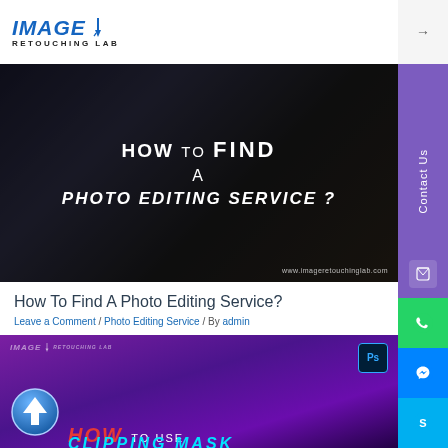[Figure (logo): Image Retouching Lab logo with blue stylized text and pen icon]
[Figure (screenshot): Dark hero banner image reading HOW to FIND A PHOTO EDITING SERVICE? with photography equipment in background, watermark www.imageretouchinglab.com]
How To Find A Photo Editing Service?
Leave a Comment / Photo Editing Service / By admin
[Figure (screenshot): Purple gradient banner with Image Retouching Lab logo, Photoshop icon, upload arrow icon, text HOW TO USE CLIPPING MASK]